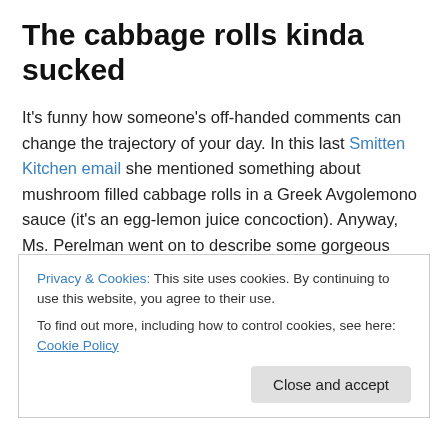The cabbage rolls kinda sucked
It's funny how someone's off-handed comments can change the trajectory of your day. In this last Smitten Kitchen email she mentioned something about mushroom filled cabbage rolls in a Greek Avgolemono sauce (it's an egg-lemon juice concoction). Anyway, Ms. Perelman went on to describe some gorgeous recipe involving wrapping cabbage rolls while I got busy busy talking with my best friend Google. It took a long time to find a mushroom filled
Privacy & Cookies: This site uses cookies. By continuing to use this website, you agree to their use.
To find out more, including how to control cookies, see here: Cookie Policy
Close and accept